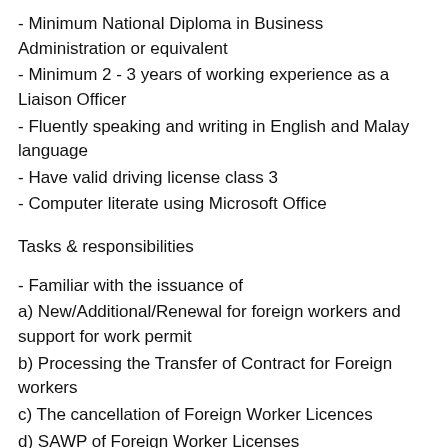- Minimum National Diploma in Business Administration or equivalent
- Minimum 2 - 3 years of working experience as a Liaison Officer
- Fluently speaking and writing in English and Malay language
- Have valid driving license class 3
- Computer literate using Microsoft Office
Tasks & responsibilities
- Familiar with the issuance of
a) New/Additional/Renewal for foreign workers and support for work permit
b) Processing the Transfer of Contract for Foreign workers
c) The cancellation of Foreign Worker Licences
d) SAWP of Foreign Worker Licenses